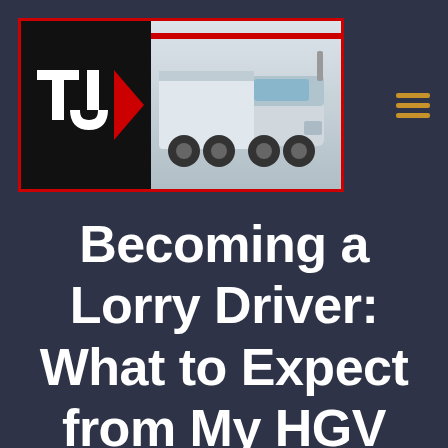[Figure (logo): TJS truck driving school logo with red border, black left panel with white TJS letters/arrows, right panel showing a white articulated lorry/HGV truck with red stripe]
Becoming a Lorry Driver: What to Expect from My HGV Career